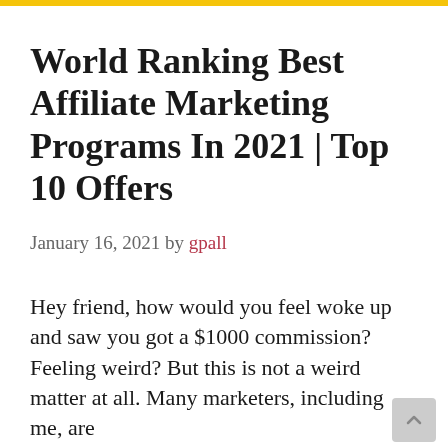World Ranking Best Affiliate Marketing Programs In 2021 | Top 10 Offers
January 16, 2021 by gpall
Hey friend, how would you feel woke up and saw you got a $1000 commission? Feeling weird? But this is not a weird matter at all. Many marketers, including me, are